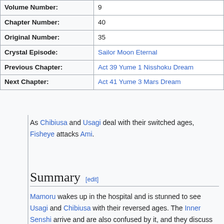| Field | Value |
| --- | --- |
| Volume Number: | 9 |
| Chapter Number: | 40 |
| Original Number: | 35 |
| Crystal Episode: | Sailor Moon Eternal |
| Previous Chapter: | Act 39 Yume 1 Nisshoku Dream |
| Next Chapter: | Act 41 Yume 3 Mars Dream |
As Chibiusa and Usagi deal with their switched ages, Fisheye attacks Ami.
Summary [edit]
Mamoru wakes up in the hospital and is stunned to see Usagi and Chibiusa with their reversed ages. The Inner Senshi arrive and are also confused by it, and they discuss the new enemies. The doctor, who is Ami's mother, arrives and tells Mamoru that he has a strange shadow on his lungs, like an infection she has never seen before.